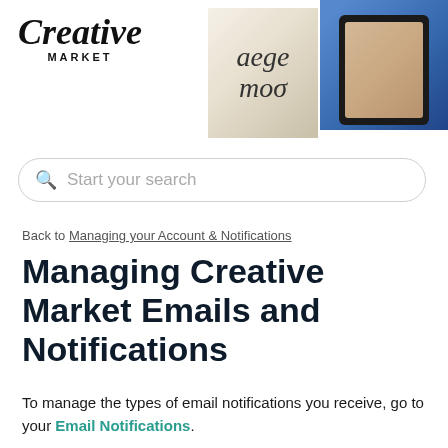[Figure (screenshot): Creative Market logo on the left with decorative banner images on the right showing typography cards and a tablet with a photo]
[Figure (screenshot): Search bar with placeholder text 'Start your search']
Back to Managing your Account & Notifications
Managing Creative Market Emails and Notifications
To manage the types of email notifications you receive, go to your Email Notifications.